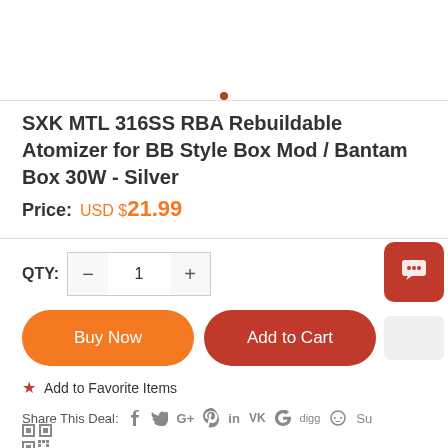SXK MTL 316SS RBA Rebuildable Atomizer for BB Style Box Mod / Bantam Box 30W - Silver
Price: USD $21.99
QTY: 1
Buy Now
Add to Cart
★ Add to Favorite Items
Share This Deal: